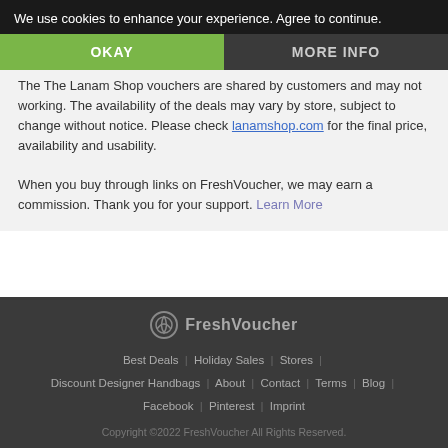Disclaimer & Endorsement
The The Lanam Shop vouchers are shared by customers and may not working. The availability of the deals may vary by store, subject to change without notice. Please check lanamshop.com for the final price, availability and usability.
When you buy through links on FreshVoucher, we may earn a commission. Thank you for your support. Learn More
[Figure (logo): FreshVoucher logo with icon]
Best Deals | Holiday Sales | Stores | Discount Designer Handbags | About | Contact | Terms | Blog | Facebook | Pinterest | Imprint
Copyright ©2022 FreshVoucher All Rights Reserved.